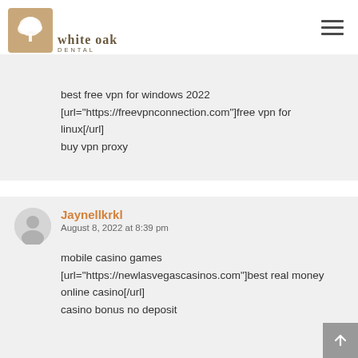[Figure (logo): White Oak Dental logo with tree icon in brown/tan square and text 'white oak DENTAL']
best free vpn for windows 2022
[url="https://freevpnconnection.com"]free vpn for linux[/url]
buy vpn proxy
Jaynellkrkl
August 8, 2022 at 8:39 pm
mobile casino games
[url="https://newlasvegascasinos.com"]best real money online casino[/url]
casino bonus no deposit